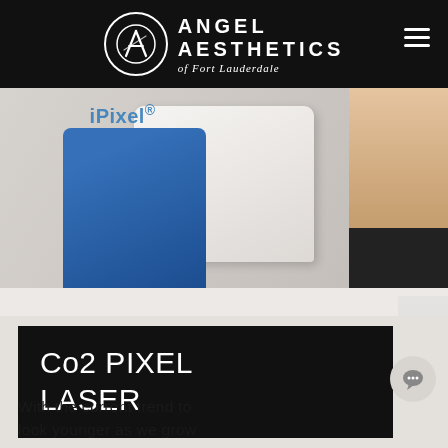ANGEL AESTHETICS of Fort Lauderdale
[Figure (photo): Photo of a medical professional in blue gloves operating an iPixel laser device near a patient's neck/skin area. The white laser handpiece is visible with the iPixel branding.]
Co2 PIXEL LASER
With the current trend to look younger as we grow